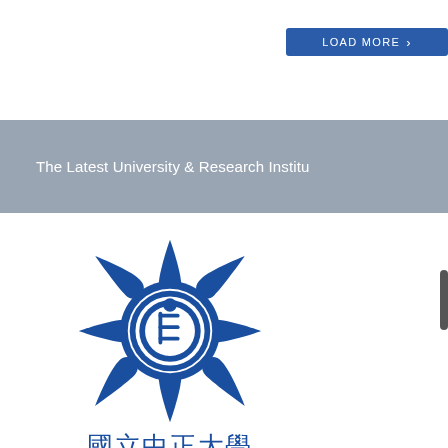[Figure (other): Blue 'LOAD MORE' button with right arrow chevron]
The Latest University & Research Institu
[Figure (logo): National Chung Cheng University logo: blue star-shaped emblem with stylized figure in circle, and Chinese characters 國立中正大學 below]